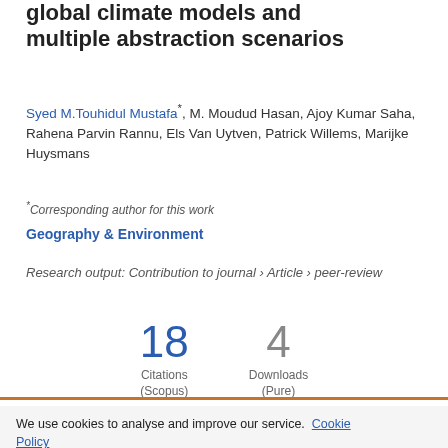global climate models and multiple abstraction scenarios
Syed M.Touhidul Mustafa*, M. Moudud Hasan, Ajoy Kumar Saha, Rahena Parvin Rannu, Els Van Uytven, Patrick Willems, Marijke Huysmans
*Corresponding author for this work
Geography & Environment
Research output: Contribution to journal › Article › peer-review
18 Citations (Scopus)
4 Downloads (Pure)
We use cookies to analyse and improve our service. Cookie Policy